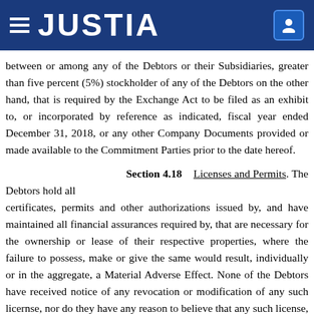JUSTIA
between or among any of the Debtors or their Subsidiaries, greater than five percent (5%) stockholder of any of the Debtors on the other hand, that is required by the Exchange Act to be filed as an exhibit to, or incorporated by reference as indicated, fiscal year ended December 31, 2018, or any other Company Documents provided or made available to the Commitment Parties prior to the date hereof.
Section 4.18    Licenses and Permits.
The Debtors hold all certificates, permits and other authorizations issued by, and have maintained all financial assurances required by, that are necessary for the ownership or lease of their respective properties, where the failure to possess, make or give the same would result, individually or in the aggregate, a Material Adverse Effect. None of the Debtors have received notice of any revocation or modification of any such license, nor do they have any reason to believe that any such license, certificate, permit will not be renewed in the ordinary course, except to the extent that any of the foregoing would result, individually or in the aggregate, a Material Adverse Effect.